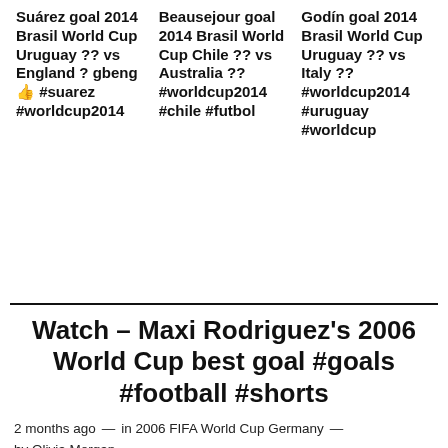Suárez goal 2014 Brasil World Cup Uruguay ?? vs England ? gbeng👍 #suarez #worldcup2014
Beausejour goal 2014 Brasil World Cup Chile ?? vs Australia ?? #worldcup2014 #chile #futbol
Godín goal 2014 Brasil World Cup Uruguay ?? vs Italy ?? #worldcup2014 #uruguay #worldcup
Watch – Maxi Rodriguez's 2006 World Cup best goal #goals #football #shorts
2 months ago — in 2006 FIFA World Cup Germany — by Olivia Morgan
[Figure (screenshot): Video thumbnail showing Maxi Rodriguez's 2006 World Cup goal, with a red circular badge with TOP 10, dark green background, and white text reading 'Maxi Rodriguez's 2006 World Cup...']